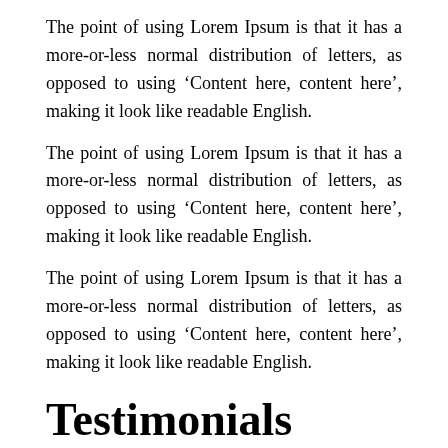The point of using Lorem Ipsum is that it has a more-or-less normal distribution of letters, as opposed to using ‘Content here, content here’, making it look like readable English.
The point of using Lorem Ipsum is that it has a more-or-less normal distribution of letters, as opposed to using ‘Content here, content here’, making it look like readable English.
The point of using Lorem Ipsum is that it has a more-or-less normal distribution of letters, as opposed to using ‘Content here, content here’, making it look like readable English.
Testimonials
The point of using Lorem Ipsum is that it has a more-or-less normal distribution of letters, as opposed to using ‘Content here, content here’, making it look like readable English.